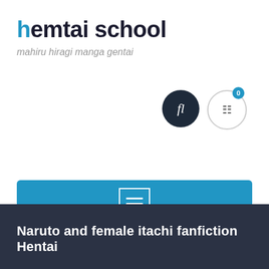hemtai school
mahiru hiragi manga gentai
[Figure (infographic): Dark circular icon button with stylized 'fl' text in italic serif, and an outline circle button with a shopping cart icon and a blue badge showing '0']
Book Now
[Figure (infographic): Blue navigation bar with a white-outlined hamburger menu icon (three horizontal lines inside a square border)]
Naruto and female itachi fanfiction Hentai